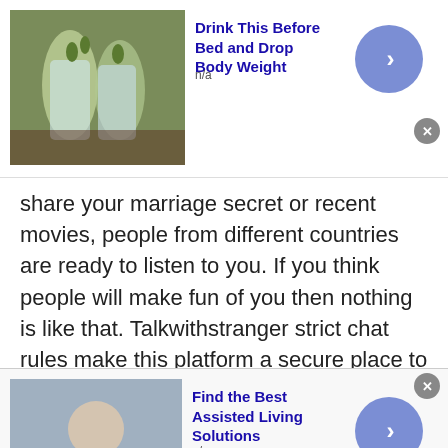[Figure (infographic): Top advertisement banner with image of water glasses with cucumber, title 'Drink This Before Bed and Drop Body Weight', n/a label, and arrow button]
share your marriage secret or recent movies, people from different countries are ready to listen to you. If you think people will make fun of you then nothing is like that. Talkwithstranger strict chat rules make this platform a secure place to talk to random people.
Talk to strangers in Romania, Canada, America, UK, Germany, India via community chat helps you learn new things that you have never heard before. W▲l,
[Figure (infographic): Bottom advertisement banner with image of elderly person being assisted, title 'Find the Best Assisted Living Solutions', n/a label, and arrow button]